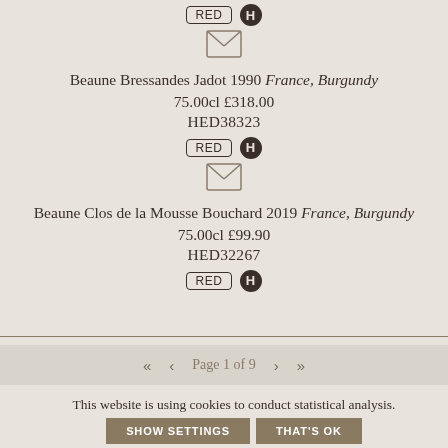[Figure (other): RED badge and H circle badge icons, followed by envelope icon]
Beaune Bressandes Jadot 1990 France, Burgundy
75.00cl £318.00
HED38323
[Figure (other): RED badge and H circle badge icons, followed by envelope icon]
Beaune Clos de la Mousse Bouchard 2019 France, Burgundy
75.00cl £99.90
HED32267
[Figure (other): RED badge and H circle badge icons (partially visible)]
« ‹ Page 1 of 9 › »
This website is using cookies to conduct statistical analysis.
SHOW SETTINGS   THAT'S OK